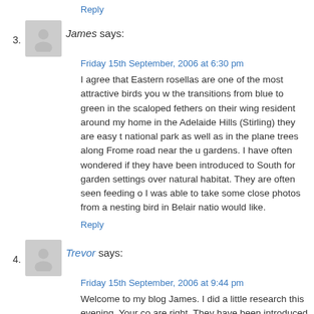Reply
3. James says:
Friday 15th September, 2006 at 6:30 pm
I agree that Eastern rosellas are one of the most attractive birds you w... the transitions from blue to green in the scaloped fethers on their wing... resident around my home in the Adelaide Hills (Stirling) they are easy t... national park as well as in the plane trees along Frome road near the u... gardens. I have often wondered if they have been introduced to South... for garden settings over natural habitat. They are often seen feeding o... I was able to take some close photos from a nesting bird in Belair natio... would like.
Reply
4. Trevor says:
Friday 15th September, 2006 at 9:44 pm
Welcome to my blog James. I did a little research this evening. Your co... are right. They have been introduced in the Adelaide region. It seems t... aviary escapees sometime between 1901 and the 1930s which becam... current distribution. The facts in these matters can be a little fuzzy; this...
They are naturally occurring in the SE of SA. I have often seen them i...